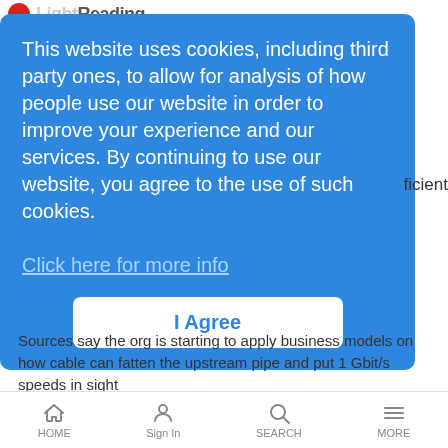Light Reading
This website uses cookies, including third party ones, to allow for analysis of how people use our website in order to improve your experience and our services. By continuing to use our website, you agree to the use of such cookies.
Click here for more info
I Agree
ficient
Sources say the org is starting to apply business models on how cable can fatten the upstream pipe and put 1 Gbit/s speeds in sight
Verizon Readies '4G' for December
LR Mobile Rumors | 9/20/2010
Verizon is now rumored to be planning initial launch of faster mobile broadband network in the US for December
HOME  Sign In  SEARCH  MORE